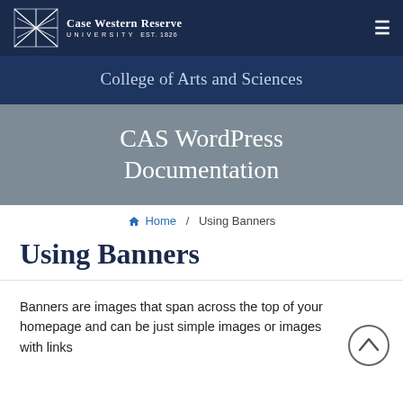Case Western Reserve University EST. 1826
College of Arts and Sciences
CAS WordPress Documentation
Home / Using Banners
Using Banners
Banners are images that span across the top of your homepage and can be just simple images or images with links